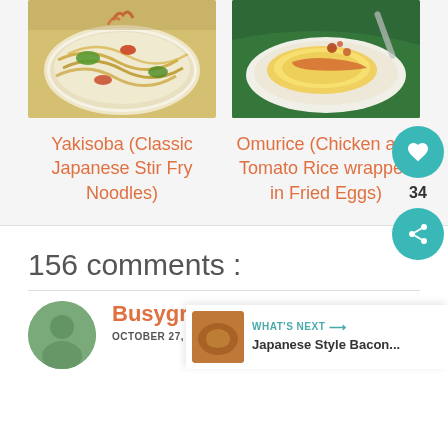[Figure (photo): Yakisoba noodles in a white bowl with colorful vegetables and red garnish]
[Figure (photo): Omurice dish: chicken and tomato rice wrapped in fried eggs on a plate]
Yakisoba (Classic Japanese Stir Fry Noodles)
Omurice (Chicken and Tomato Rice wrapped in Fried Eggs)
156 comments :
Busygran
OCTOBER 27, 2018 AT 11:34 AM
34
WHAT'S NEXT → Japanese Style Bacon...